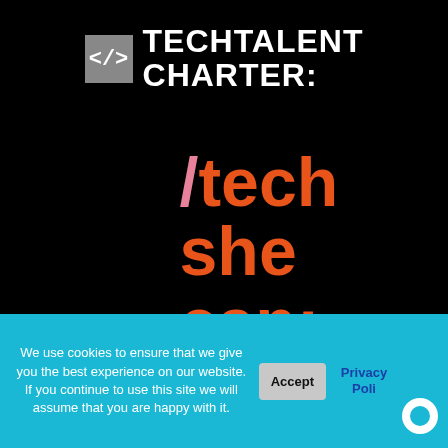[Figure (logo): Tech Talent Charter logo with bracket icon and white text TECHTALENT CHARTER:]
/tech she can;
NAVIGATION MENU
> NEWS & ARTICLES
We use cookies to ensure that we give you the best experience on our website. If you continue to use this site we will assume that you are happy with it.
Accept
Privacy Poli